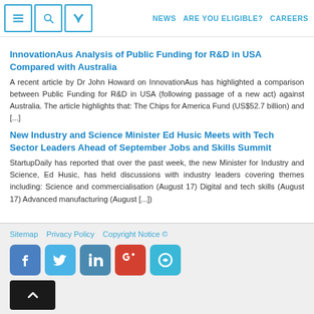NEWS  ARE YOU ELIGIBLE?  CAREERS
InnovationAus Analysis of Public Funding for R&D in USA Compared with Australia
A recent article by Dr John Howard on InnovationAus has highlighted a comparison between Public Funding for R&D in USA (following passage of a new act) against Australia. The article highlights that: The Chips for America Fund (US$52.7 billion) and [...]
New Industry and Science Minister Ed Husic Meets with Tech Sector Leaders Ahead of September Jobs and Skills Summit
StartupDaily has reported that over the past week, the new Minister for Industry and Science, Ed Husic, has held discussions with industry leaders covering themes including: Science and commercialisation (August 17) Digital and tech skills (August 17) Advanced manufacturing (August [...])
Sitemap  Privacy Policy  Copyright Notice ©